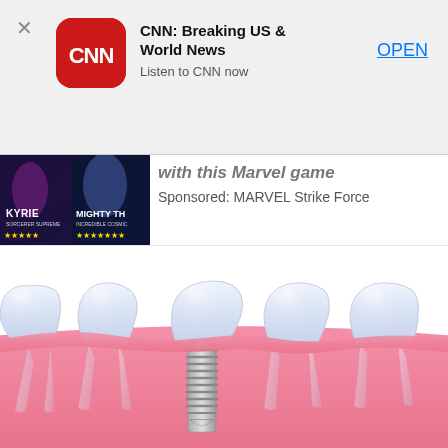[Figure (screenshot): CNN app advertisement banner with CNN logo (red rounded square), app title 'CNN: Breaking US & World News', subtitle 'Listen to CNN now', and blue OPEN button. X close button on left.]
[Figure (screenshot): Partial Marvel Strike Force game advertisement showing game characters including KYRIE and MIGHTY THOR with star ratings. Sponsored: MARVEL Strike Force text visible.]
[Figure (illustration): Medical dental illustration showing a cross-section of teeth and gums. Five teeth are shown embedded in pink gum tissue with roots visible. The middle tooth has a metal dental implant screw replacing the natural root. All teeth have white crowns.]